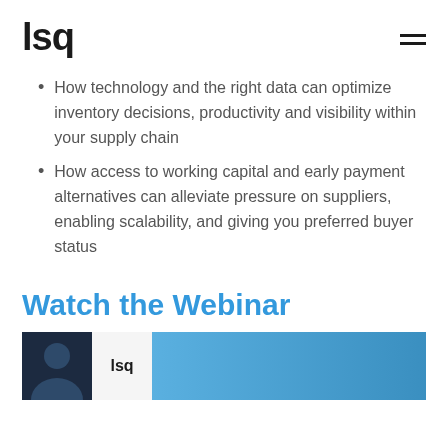lsq
How technology and the right data can optimize inventory decisions, productivity and visibility within your supply chain
How access to working capital and early payment alternatives can alleviate pressure on suppliers, enabling scalability, and giving you preferred buyer status
Watch the Webinar
[Figure (screenshot): Webinar video thumbnail showing a person and LSQ logo on a dark and blue background]